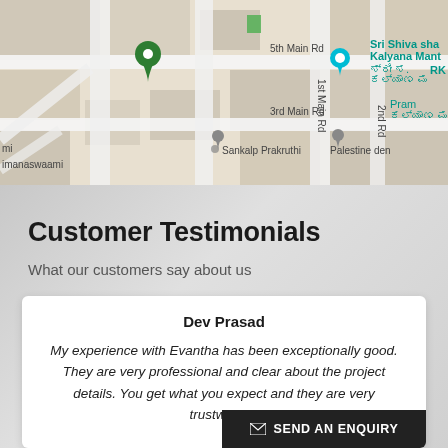[Figure (map): Google Maps screenshot showing area with 5th Main Rd, RK Narayan House, 3rd Main Rd, Sankalp Prakruthi, Sri Shiva sha Kalyana Mant, Palestine den, with a green location pin marker]
Customer Testimonials
What our customers say about us
Dev Prasad
My experience with Evantha has been exceptionally good. They are very professional and clear about the project details. You get what you expect and they are very trustworthy.
SEND AN ENQUIRY